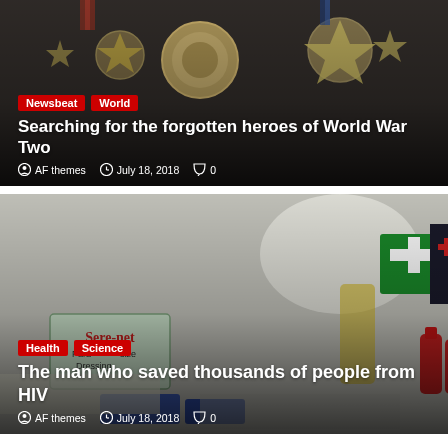[Figure (photo): Close-up of military medals and decorations on a dark background]
Newsbeat
World
Searching for the forgotten heroes of World War Two
AF themes   July 18, 2018   0
[Figure (photo): Medical supplies including first aid kit, Sere-net dressing, red liquid bottles, gloves, and medicine bottles on a surface]
Health
Science
The man who saved thousands of people from HIV
AF themes   July 18, 2018   0